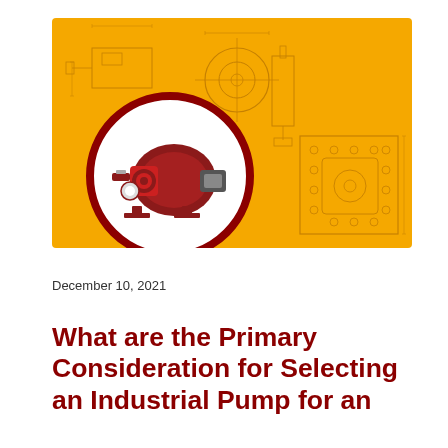[Figure (photo): Orange/yellow background with engineering technical drawings (schematics and mechanical diagrams). In the foreground, a circular medallion with a dark red border displays a photo of a red industrial pump (peristaltic or diaphragm pump) on a white background.]
December 10, 2021
What are the Primary Consideration for Selecting an Industrial Pump for an